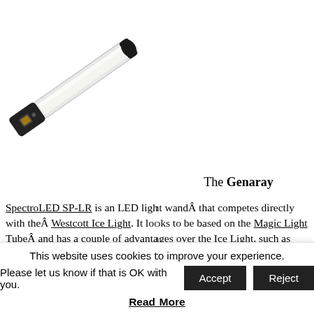[Figure (photo): A Genaray SpectroLED SP-LR LED light wand, shown diagonally, featuring a silver/white tube body with a black handle at one end and a black rounded cap at the other end. A small control panel is visible on the black handle.]
The Genaray
SpectroLED SP-LR is an LED light wandÂ that competes directly with theÂ Westcott Ice Light. It looks to be based on the Magic Light TubeÂ and has a couple of advantages over the Ice Light, such as user-replaceable batteries. It is available from B&H Photo for $249.95, half its normal price.
If you’re after something a bit beefier, the Genaray
This website uses cookies to improve your experience.
Please let us know if that is OK with you.
Read More